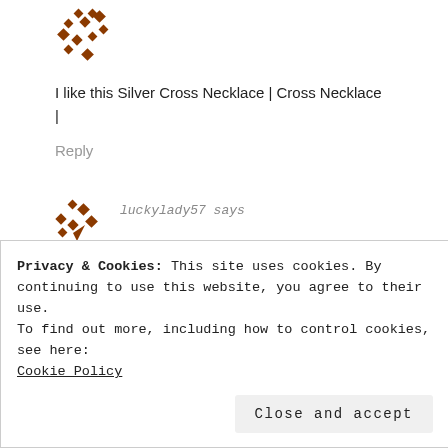[Figure (logo): Brown pixelated/diamond-pattern avatar icon for a blog commenter]
I like this Silver Cross Necklace | Cross Necklace
|
Reply
[Figure (logo): Brown pixelated/diamond-pattern avatar icon for user luckylady57]
luckylady57 says
Privacy & Cookies: This site uses cookies. By continuing to use this website, you agree to their use.
To find out more, including how to control cookies, see here:
Cookie Policy
Close and accept
Pendant Necklace| Crystal Teardrop Necklace |